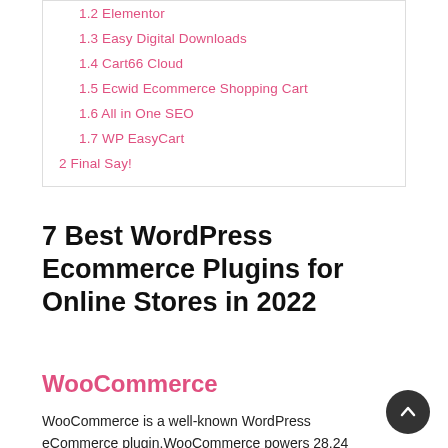1.2 Elementor
1.3 Easy Digital Downloads
1.4 Cart66 Cloud
1.5 Ecwid Ecommerce Shopping Cart
1.6 All in One SEO
1.7 WP EasyCart
2 Final Say!
7 Best WordPress Ecommerce Plugins for Online Stores in 2022
WooCommerce
WooCommerce is a well-known WordPress eCommerce plugin.WooCommerce powers 28.24